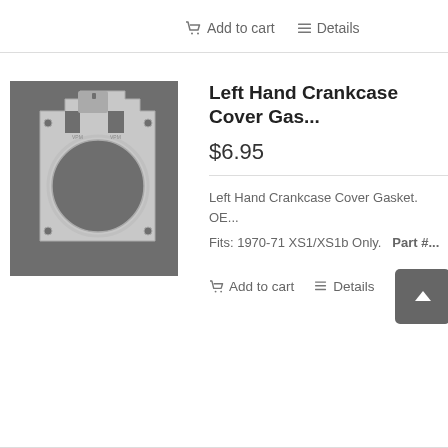Add to cart   Details
[Figure (photo): Photo of a left hand crankcase cover gasket on a dark background, showing a flat metal gasket with a large circular opening and mounting holes]
Left Hand Crankcase Cover Gasket
$6.95
Left Hand Crankcase Cover Gasket. OE...
Fits: 1970-71 XS1/XS1b Only.   Part #...
Add to cart   Details